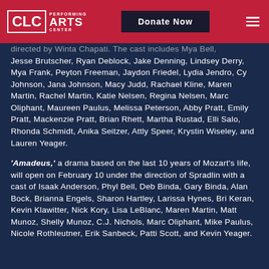CLC Performing Arts Center | Donate Now
directed by Winta Chapati. The cast includes Mya Bell, Jesse Brutscher, Ryan Deblock, Jake Denning, Lindsey Derry, Mya Frank, Peyton Freeman, Jaydon Friedel, Lydia Jendro, Cy Johnson, Jana Johnson, Macy Judd, Rachael Kline, Maren Martin, Rachel Martin, Katie Nelsen, Regina Nelsen, Marc Oliphant, Maureen Paulus, Melissa Peterson, Abby Pratt, Emily Pratt, Mackenzie Pratt, Brian Rhett, Martha Rustad, Elli Salo, Rhonda Schmidt, Anika Seitzer, Attly Speer, Krystin Wiseley, and Lauren Yeager.
'Amadeus,' a drama based on the last 10 years of Mozart's life, will open on February 10 under the direction of Spradlin with a cast of Isaak Anderson, Phyl Bell, Deb Binda, Gary Binda, Alan Bock, Brianna Engels, Sharon Hartley, Larissa Hynes, Bri Keran, Kevin Klawitter, Nick Kory, Lisa LeBlanc, Maren Martin, Matt Munoz, Shelly Munoz, C.J. Nichols, Marc Oliphant, Mike Paulus, Nicole Rothleutner, Erik Sanbeck, Patti Scott, and Kevin Yeager.